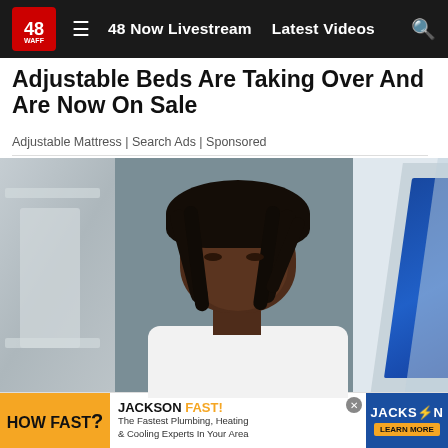48 WAFF  ≡  48 Now Livestream  Latest Videos  🔍
Adjustable Beds Are Taking Over And Are Now On Sale
Adjustable Mattress | Search Ads | Sponsored
[Figure (photo): Mugshot-style photo of a young Black man with dreadlocks wearing a white t-shirt, posed in front of a gray cinder block wall. WAFF news logo/set visible on the right side.]
Aubur
[Figure (infographic): Banner advertisement: HOW FAST? JACKSON FAST! The Fastest Plumbing, Heating & Cooling Experts In Your Area. JACKSON logo with LEARN MORE button.]